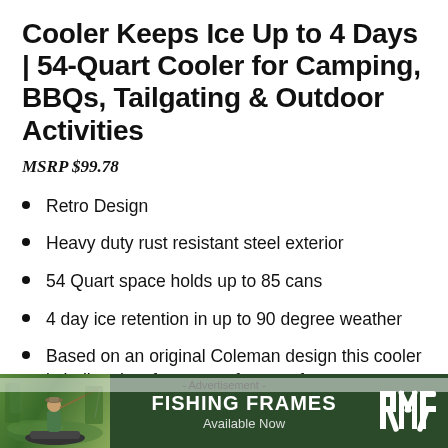Cooler Keeps Ice Up to 4 Days | 54-Quart Cooler for Camping, BBQs, Tailgating & Outdoor Activities
MSRP $99.78
Retro Design
Heavy duty rust resistant steel exterior
54 Quart space holds up to 85 cans
4 day ice retention in up to 90 degree weather
Based on an original Coleman design this cooler is built to last for years of top performance
[Figure (photo): Advertisement banner for Fishing Frames showing a fisherman on a boat with a lake background and RMR logo]